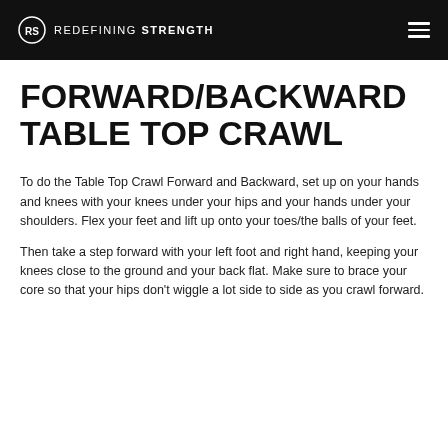REDEFINING STRENGTH
FORWARD/BACKWARD TABLE TOP CRAWL
To do the Table Top Crawl Forward and Backward, set up on your hands and knees with your knees under your hips and your hands under your shoulders. Flex your feet and lift up onto your toes/the balls of your feet.
Then take a step forward with your left foot and right hand, keeping your knees close to the ground and your back flat. Make sure to brace your core so that your hips don't wiggle a lot side to side as you crawl forward.